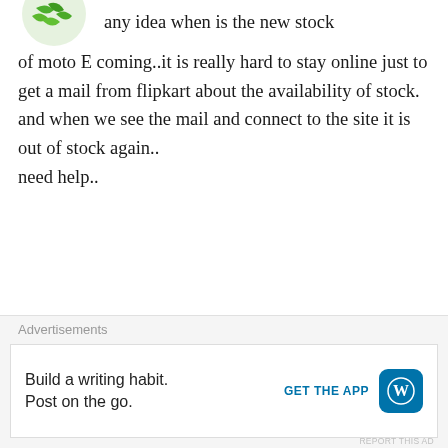[Figure (illustration): Green decorative avatar/logo icon, partially visible at top left]
any idea when is the new stock of moto E coming..it is really hard to stay online just to get a mail from flipkart about the availability of stock. and when we see the mail and connect to the site it is out of stock again..
need help..
★ Like
REPLY
[Figure (illustration): Purple/blue decorative avatar icon, partially visible at bottom]
Advertisements
Build a writing habit. Post on the go.
GET THE APP
[Figure (logo): WordPress logo - W on blue rounded square]
REPORT THIS AD